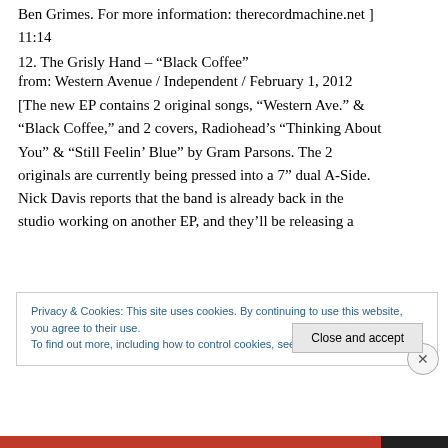Ben Grimes. For more information: therecordmachine.net ]
11:14
12. The Grisly Hand – “Black Coffee”
from: Western Avenue / Independent / February 1, 2012
[The new EP contains 2 original songs, “Western Ave.” & “Black Coffee,” and 2 covers, Radiohead’s “Thinking About You” & “Still Feelin’ Blue” by Gram Parsons. The 2 originals are currently being pressed into a 7” dual A-Side. Nick Davis reports that the band is already back in the studio working on another EP, and they’ll be releasing a
Privacy & Cookies: This site uses cookies. By continuing to use this website, you agree to their use.
To find out more, including how to control cookies, see here: Cookie Policy
Close and accept